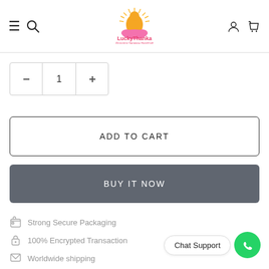[Figure (logo): LuckyThanka logo with Buddha figure and text 'LuckyThanka - Promoting Nepalese Handicraft']
1
ADD TO CART
BUY IT NOW
Strong Secure Packaging
100% Encrypted Transaction
Chat Support